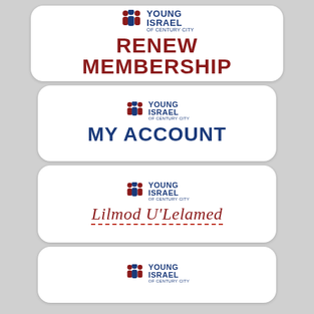[Figure (logo): Young Israel of Century City - Renew Membership button card]
[Figure (logo): Young Israel of Century City - My Account button card]
[Figure (logo): Young Israel of Century City - Lilmod U'Lelamed button card]
[Figure (logo): Young Israel of Century City - partial fourth button card]